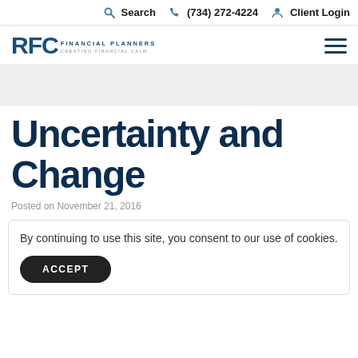Search  (734) 272-4224  Client Login
[Figure (logo): RFC Financial Planners logo with hamburger menu icon]
Uncertainty and Change
Posted on November 21, 2016
By continuing to use this site, you consent to our use of cookies.
ACCEPT